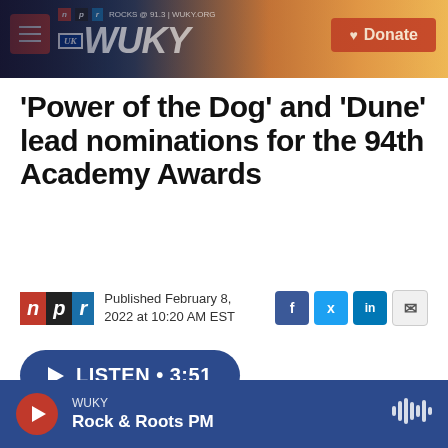[Figure (screenshot): WUKY NPR radio station website header banner with hamburger menu, WUKY logo, and Donate button over a sunset/rural background photo]
'Power of the Dog' and 'Dune' lead nominations for the 94th Academy Awards
Published February 8, 2022 at 10:20 AM EST
LISTEN • 3:51
WUKY Rock & Roots PM